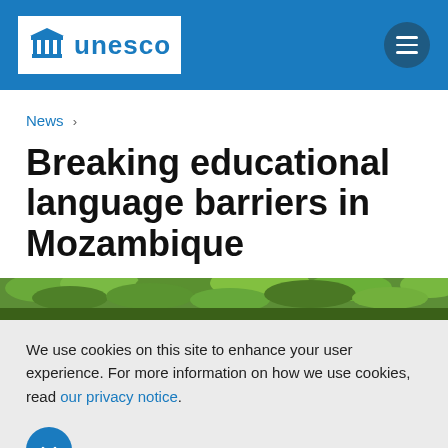UNESCO
News >
Breaking educational language barriers in Mozambique
[Figure (photo): Green tropical foliage, top portion of an outdoor photo visible as a strip at the bottom of the main content area.]
We use cookies on this site to enhance your user experience. For more information on how we use cookies, read our privacy notice.